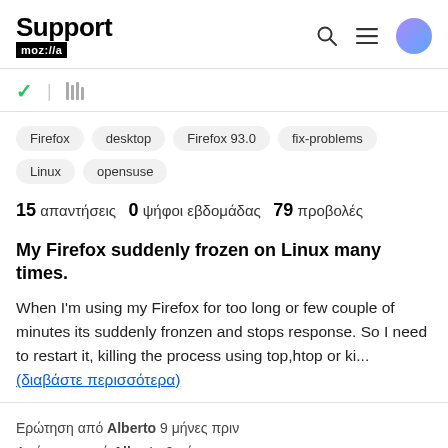Support mozilla // a
Firefox  desktop  Firefox 93.0  fix-problems  Linux  opensuse
15 απαντήσεις  0 ψήφοι εβδομάδας  79 προβολές
My Firefox suddenly frozen on Linux many times.
When I'm using my Firefox for too long or few couple of minutes its suddenly fronzen and stops response. So I need to restart it, killing the process using top,htop or ki... (διαβάστε περισσότερα)
Ερώτηση από Alberto 9 μήνες πριν
Απάντηση από Alberto 9 μήνες πριν